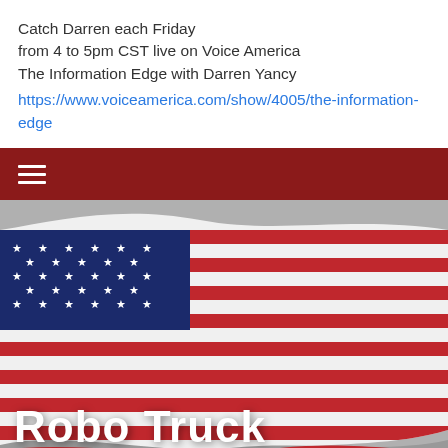Catch Darren each Friday from 4 to 5pm CST live on Voice America The Information Edge with Darren Yancy https://www.voiceamerica.com/show/4005/the-information-edge
[Figure (screenshot): Navigation bar with dark red background and hamburger menu icon (three white horizontal lines)]
[Figure (photo): American flag waving with red, white, and blue colors against a grey background, with title 'Robo Truck' overlaid in large white bold text at the bottom left]
Robo Truck